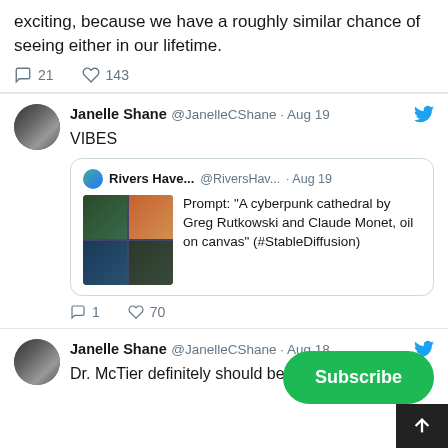exciting, because we have a roughly similar chance of seeing either in our lifetime.
21  143
Janelle Shane @JanelleCShane · Aug 19
VIBES
[Figure (screenshot): Quoted tweet from Rivers Have... @RiversHav... Aug 19 with four AI-generated images and text: Prompt: "A cyberpunk cathedral by Greg Rutkowski and Claude Monet, oil on canvas" (#StableDiffusion)]
1  70
Janelle Shane @JanelleCShane · Aug 18
Dr. McTier definitely should be ve... @verified !